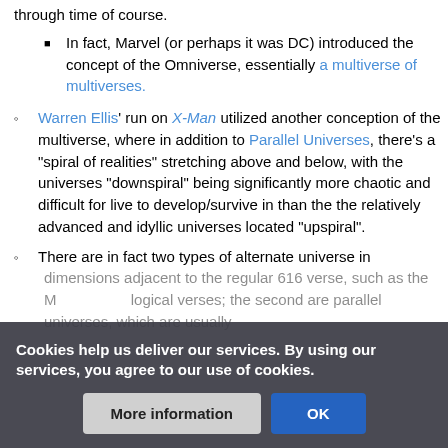through time of course.
In fact, Marvel (or perhaps it was DC) introduced the concept of the Omniverse, essentially a multiverse of multiverses.
Warren Ellis' run on X-Man utilized another conception of the multiverse, where in addition to Parallel Universes, there's a "spiral of realities" stretching above and below, with the universes "downspiral" being significantly more chaotic and difficult for live to develop/survive in than the the relatively advanced and idyllic universes located "upspiral".
There are in fact two types of alternate universe in dimensions adjacent to the regular 616 verse, such as the M... logical verses; the second are parallel universes, which are usually
Cookies help us deliver our services. By using our services, you agree to our use of cookies.
More information | OK